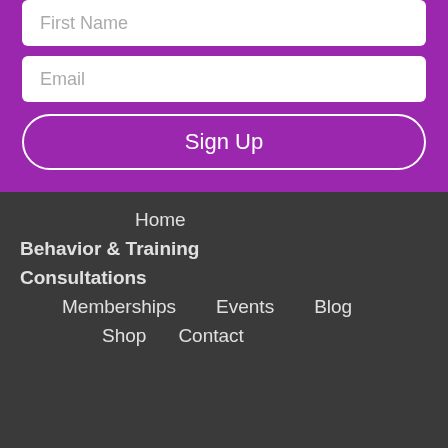First Name
Email
Sign Up
Home
Behavior & Training
Consultations
Memberships   Events   Blog
Shop   Contact